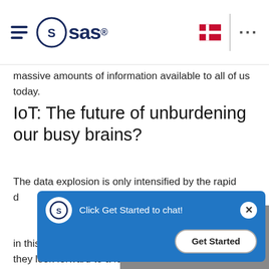SAS logo navigation bar with hamburger menu, SAS logo, Danish flag icon, and ellipsis menu
massive amounts of information available to all of us today.
IoT: The future of unburdening our busy brains?
The data explosion is only intensified by the rapid d... ...ch adds t... ...nation to o... ...t perhaps s... ...tial in this d... ...tbit armbands, they look forward to a future in which technology helps us in the right direction based on the data of our daily actions and our health status - especially when technology develops to the point at
[Figure (screenshot): SAS chat popup overlay with blue background, SAS logo, text 'Click Get Started to chat!', close X button, and 'Get Started' button]